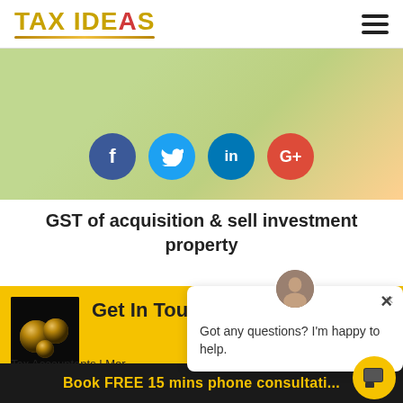TAX IDEAS
[Figure (photo): Hero banner image showing people outdoors with green background, partially visible]
[Figure (infographic): Row of four social media circular icons: Facebook (dark blue), Twitter (light blue), LinkedIn (blue), Google+ (red)]
GST of acquisition & sell investment property
[Figure (photo): Gold balls on dark background thumbnail image]
Get In Touch
Tax Accountants | Mor... Planners | One Stop Ideas
[Figure (photo): Chat widget with avatar photo of a man, showing chat bubble with text: Got any questions? I'm happy to help.]
Got any questions? I'm happy to help.
Book FREE 15 mins phone consultati...